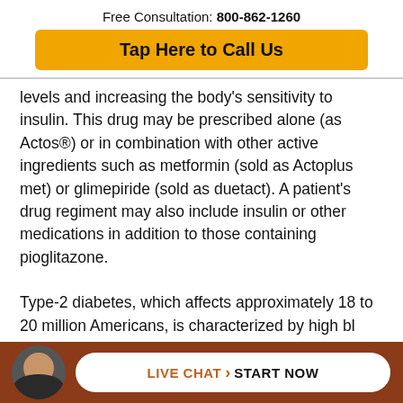Free Consultation: 800-862-1260
Tap Here to Call Us
levels and increasing the body's sensitivity to insulin. This drug may be prescribed alone (as Actos®) or in combination with other active ingredients such as metformin (sold as Actoplus met) or glimepiride (sold as duetact). A patient's drug regiment may also include insulin or other medications in addition to those containing pioglitazone.
Type-2 diabetes, which affects approximately 18 to 20 million Americans, is characterized by high blood gl... ody's
LIVE CHAT > START NOW